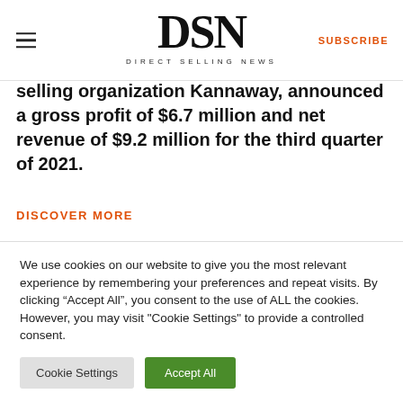DSN — DIRECT SELLING NEWS | SUBSCRIBE
selling organization Kannaway, announced a gross profit of $6.7 million and net revenue of $9.2 million for the third quarter of 2021.
DISCOVER MORE
We use cookies on our website to give you the most relevant experience by remembering your preferences and repeat visits. By clicking "Accept All", you consent to the use of ALL the cookies. However, you may visit "Cookie Settings" to provide a controlled consent.